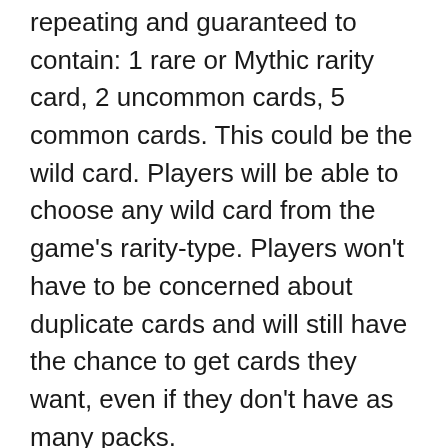repeating and guaranteed to contain: 1 rare or Mythic rarity card, 2 uncommon cards, 5 common cards. This could be the wild card. Players will be able to choose any wild card from the game's rarity-type. Players won't have to be concerned about duplicate cards and will still have the chance to get cards they want, even if they don't have as many packs.
Real-world currency can be used to purchase gems. Players also have the option to use this currency to buy bundles. Gem purchases do not offer a bundle option. However, mass-purchases are subject to the same pricing. Players will be